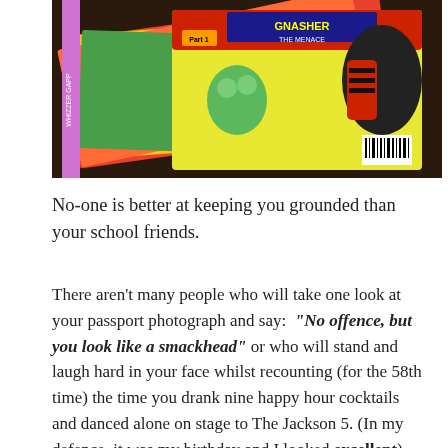[Figure (photo): A photograph of a pile of colorful comic books/annuals including Beano/Dennis the Menace comics with Gnasher visible on the cover, spread out on a dark surface.]
No-one is better at keeping you grounded than your school friends.
There aren't many people who will take one look at your passport photograph and say: “No offence, but you look like a smackhead” or who will stand and laugh hard in your face whilst recounting (for the 58th time) the time you drank nine happy hour cocktails and danced alone on stage to The Jackson 5. (In my defence, it was my birthday and I looked excellent). But this is all in a day’s work for